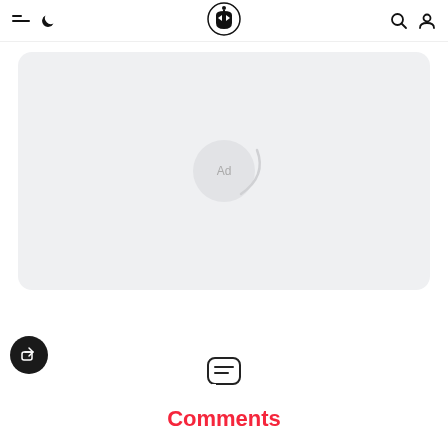Navigation bar with menu, dark mode, logo, search, and user icons
[Figure (other): Advertisement placeholder box with light gray background and 'Ad' label with loading spinner arc]
[Figure (other): Dark circular share/export button icon on left side]
[Figure (other): Comments chat bubble icon above Comments heading]
Comments